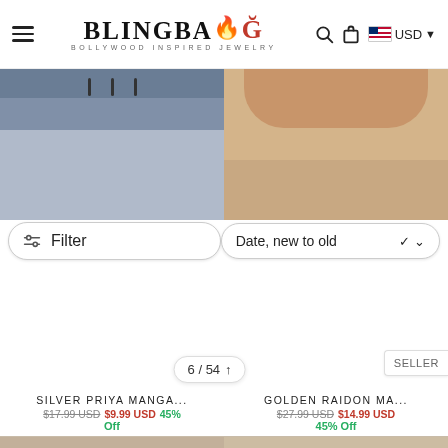BlingBag - Bollywood Inspired Jewelry
[Figure (screenshot): Two product images showing Bollywood-style mangalsutra jewelry on mannequin busts, left with dark blue/grey background, right with beige background]
Filter
Date, new to old
6 / 54
BEST SELLER
SILVER PRIYA MANGA...
$17.99 USD $9.99 USD 45% Off
GOLDEN RAIDON MA...
$27.99 USD $14.99 USD 45% Off
[Figure (photo): Two product images showing mangalsutra necklaces on beige mannequin busts, left with gold chain, right with black beaded chain]